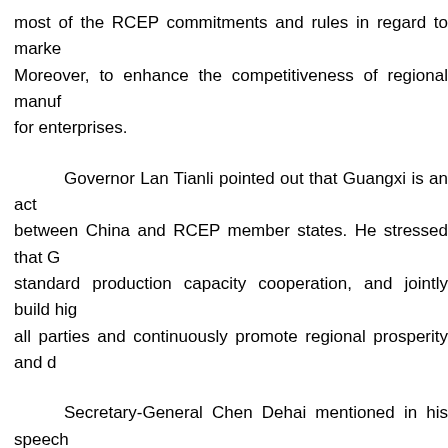most of the RCEP commitments and rules in regard to marke Moreover, to enhance the competitiveness of regional manuf for enterprises.
Governor Lan Tianli pointed out that Guangxi is an act between China and RCEP member states. He stressed that G standard production capacity cooperation, and jointly build hig all parties and continuously promote regional prosperity and d
Secretary-General Chen Dehai mentioned in his speech has opened up broader space for ASEAN-China cooperation unremitting efforts to strengthen ASEAN-China Comprehen mutually complementary industrial cooperation and encourag between the two sides.